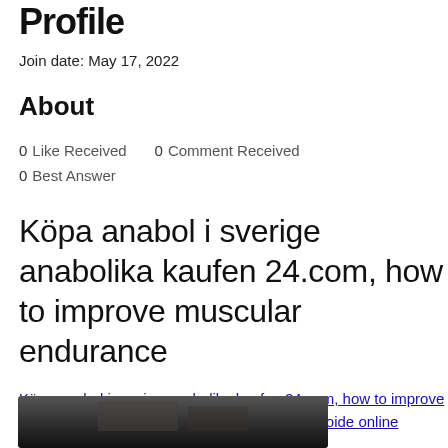Profile
Join date: May 17, 2022
About
0 Like Received  0 Comment Received  0 Best Answer
Köpa anabol i sverige anabolika kaufen 24.com, how to improve muscular endurance
Köpa anabol i sverige anabolika kaufen 24.com, how to improve muscular endurance - Kaufen sie anabole steroide online
[Figure (photo): Partial photo strip at bottom of page, dark blurred image]